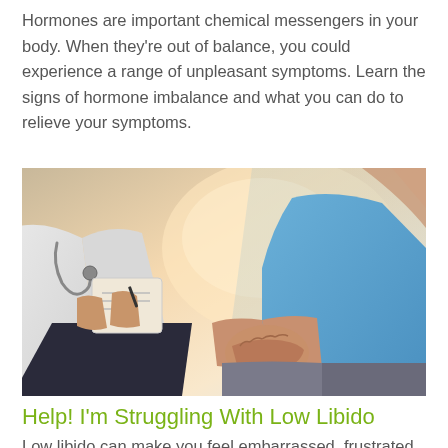Hormones are important chemical messengers in your body. When they're out of balance, you could experience a range of unpleasant symptoms. Learn the signs of hormone imbalance and what you can do to relieve your symptoms.
[Figure (photo): A doctor in a white coat with a stethoscope holding a clipboard, consulting with a patient in a blue shirt who is sitting with hands clasped together.]
Help! I'm Struggling With Low Libido
Low libido can make you feel embarrassed, frustrated, and